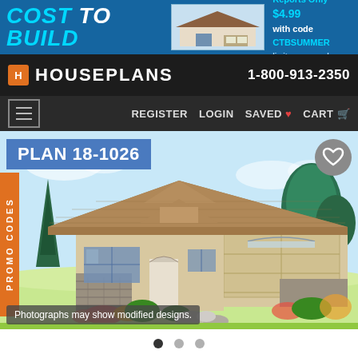[Figure (screenshot): Cost to Build banner advertisement with house image. Text: 'COST TO BUILD Reports Only $4.99 with code CTBSUMMER limit one per order']
HOUSEPLANS  1-800-913-2350
REGISTER  LOGIN  SAVED ♥  CART
PLAN 18-1026
[Figure (illustration): Illustrated front elevation of a ranch-style house with a two-car garage, stone accents, arched entry, cedar shake roof, large windows, and landscaping with trees, shrubs, and colorful flowers. 'PROMO CODES' tab on left side. Heart/save button in top-right corner.]
Photographs may show modified designs.
• • •